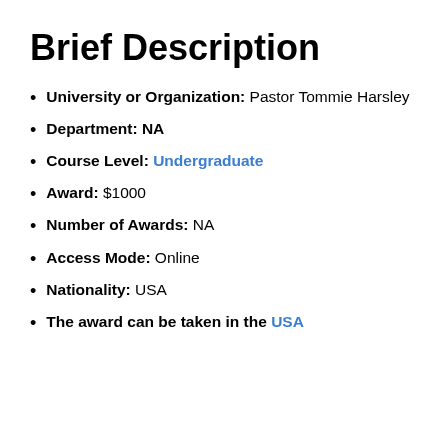Brief Description
University or Organization: Pastor Tommie Harsley
Department: NA
Course Level: Undergraduate
Award: $1000
Number of Awards: NA
Access Mode: Online
Nationality: USA
The award can be taken in the USA